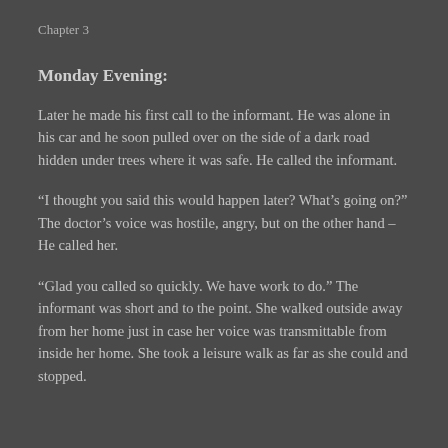Chapter 3
Monday Evening:
Later he made his first call to the informant. He was alone in his car and he soon pulled over on the side of a dark road hidden under trees where it was safe. He called the informant.
“I thought you said this would happen later? What’s going on?” The doctor’s voice was hostile, angry, but on the other hand –  He called her.
“Glad you called so quickly. We have work to do.” The informant was short and to the point. She walked outside away from her home just in case her voice was transmittable from inside her home. She took a leisure walk as far as she could and stopped.